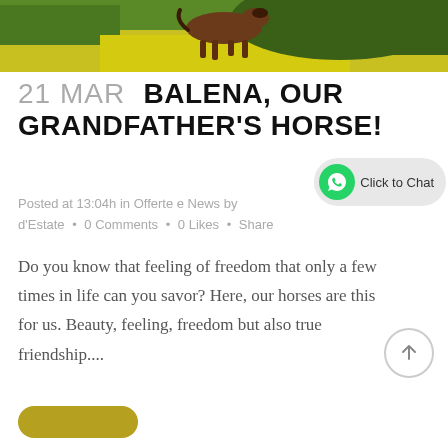[Figure (photo): A brown horse running through a field of yellow flowers with green trees in the background, partially visible at the top of the page.]
21 MAR BALENA, OUR GRANDFATHER'S HORSE!
Posted at 13:04h in Offerte e News by d'Estate • 0 Comments • 0 Likes • Share
Do you know that feeling of freedom that only a few times in life can you savor? Here, our horses are this for us. Beauty, feeling, freedom but also true friendship....